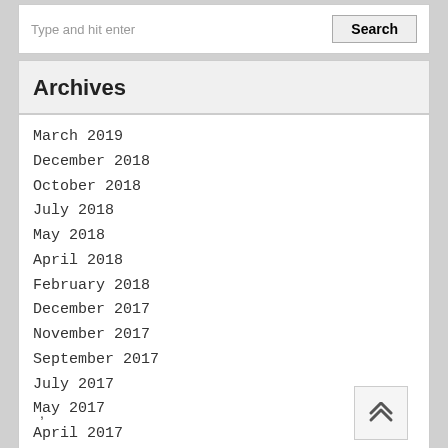Type and hit enter
March 2019
December 2018
October 2018
July 2018
May 2018
April 2018
February 2018
December 2017
November 2017
September 2017
July 2017
May 2017
April 2017
,